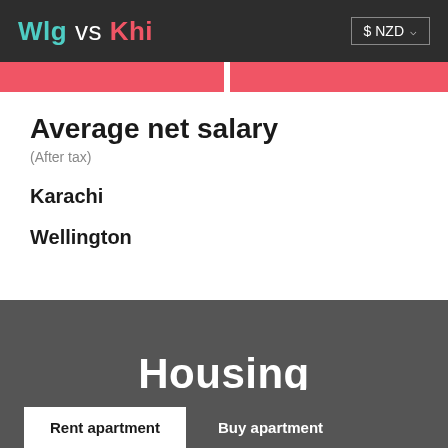Wlg vs Khi  $ NZD
Average net salary
(After tax)
Karachi
Wellington
Housing
Rent apartment
Buy apartment